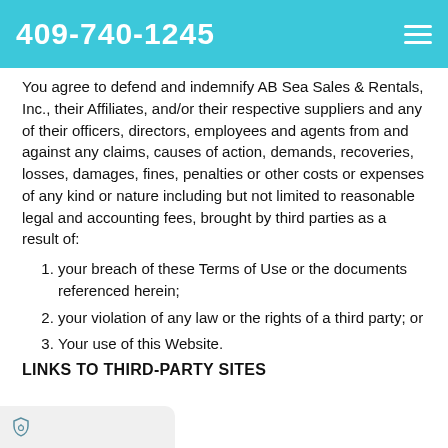409-740-1245
You agree to defend and indemnify AB Sea Sales & Rentals, Inc., their Affiliates, and/or their respective suppliers and any of their officers, directors, employees and agents from and against any claims, causes of action, demands, recoveries, losses, damages, fines, penalties or other costs or expenses of any kind or nature including but not limited to reasonable legal and accounting fees, brought by third parties as a result of:
your breach of these Terms of Use or the documents referenced herein;
your violation of any law or the rights of a third party; or
Your use of this Website.
LINKS TO THIRD-PARTY SITES